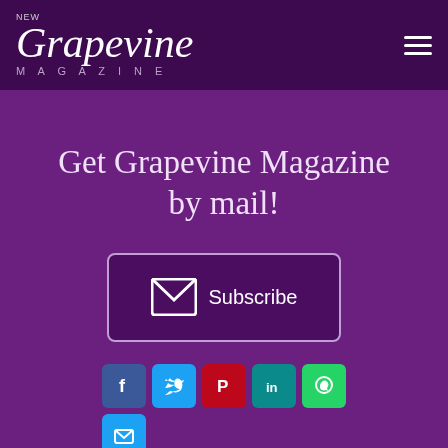NEW Grapevine MAGAZINE
Get Grapevine Magazine by mail!
[Figure (infographic): Subscribe button with envelope icon inside a dark rounded rectangle border]
[Figure (infographic): Row of social media share icons: Facebook, Twitter, Pinterest, LinkedIn, WhatsApp, and Email]